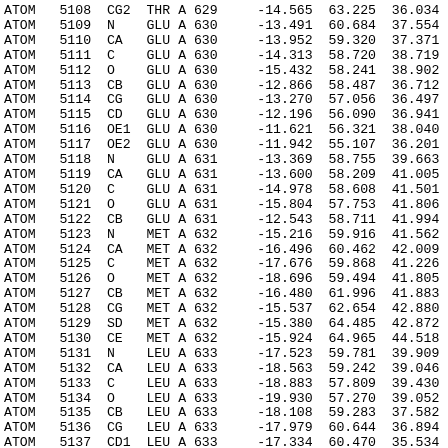| ATOM | 5108 | CG2 | THR | A | 629 |  | -14.565 | 63.225 | 36.034 |
| ATOM | 5109 | N | GLU | A | 630 |  | -13.491 | 60.684 | 37.554 |
| ATOM | 5110 | CA | GLU | A | 630 |  | -13.952 | 59.320 | 37.371 |
| ATOM | 5111 | C | GLU | A | 630 |  | -14.313 | 58.720 | 38.719 |
| ATOM | 5112 | O | GLU | A | 630 |  | -15.432 | 58.241 | 38.902 |
| ATOM | 5113 | CB | GLU | A | 630 |  | -12.866 | 58.487 | 36.712 |
| ATOM | 5114 | CG | GLU | A | 630 |  | -13.270 | 57.056 | 36.497 |
| ATOM | 5115 | CD | GLU | A | 630 |  | -12.196 | 56.090 | 36.941 |
| ATOM | 5116 | OE1 | GLU | A | 630 |  | -11.621 | 56.321 | 38.040 |
| ATOM | 5117 | OE2 | GLU | A | 630 |  | -11.942 | 55.107 | 36.201 |
| ATOM | 5118 | N | GLU | A | 631 |  | -13.369 | 58.755 | 39.663 |
| ATOM | 5119 | CA | GLU | A | 631 |  | -13.600 | 58.209 | 41.005 |
| ATOM | 5120 | C | GLU | A | 631 |  | -14.978 | 58.608 | 41.501 |
| ATOM | 5121 | O | GLU | A | 631 |  | -15.804 | 57.753 | 41.806 |
| ATOM | 5122 | CB | GLU | A | 631 |  | -12.543 | 58.711 | 41.994 |
| ATOM | 5123 | N | MET | A | 632 |  | -15.216 | 59.916 | 41.562 |
| ATOM | 5124 | CA | MET | A | 632 |  | -16.496 | 60.462 | 42.009 |
| ATOM | 5125 | C | MET | A | 632 |  | -17.676 | 59.868 | 41.226 |
| ATOM | 5126 | O | MET | A | 632 |  | -18.696 | 59.494 | 41.805 |
| ATOM | 5127 | CB | MET | A | 632 |  | -16.480 | 61.996 | 41.883 |
| ATOM | 5128 | CG | MET | A | 632 |  | -15.537 | 62.654 | 42.880 |
| ATOM | 5129 | SD | MET | A | 632 |  | -15.380 | 64.485 | 42.872 |
| ATOM | 5130 | CE | MET | A | 632 |  | -15.924 | 64.965 | 44.518 |
| ATOM | 5131 | N | LEU | A | 633 |  | -17.523 | 59.781 | 39.909 |
| ATOM | 5132 | CA | LEU | A | 633 |  | -18.563 | 59.242 | 39.046 |
| ATOM | 5133 | C | LEU | A | 633 |  | -18.883 | 57.809 | 39.430 |
| ATOM | 5134 | O | LEU | A | 633 |  | -19.930 | 57.270 | 39.052 |
| ATOM | 5135 | CB | LEU | A | 633 |  | -18.108 | 59.283 | 37.582 |
| ATOM | 5136 | CG | LEU | A | 633 |  | -17.979 | 60.644 | 36.894 |
| ATOM | 5137 | CD1 | LEU | A | 633 |  | -17.334 | 60.470 | 35.534 |